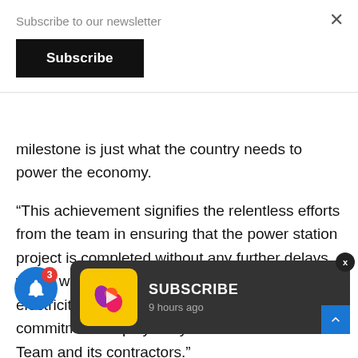Subscribe to our newsletter
Subscribe
milestone is just what the country needs to power the economy.
“This achievement signifies the relentless efforts from the team in ensuring that the power station project is completed without any further delays, which would help strengthen South Africa’s electricity capacity. I am grateful for the commitment displayed by the Kusile Execution Team and its contractors.”
S... synchroniz... ation, intermittently generating up to 350MW. Ektor said the unit post synchronization commissioning activities
[Figure (other): SUBSCRIBE notification card with yellow icon showing a play/arrow logo, text 'SUBSCRIBE' and '9 hours ago']
[Figure (other): Blue notification bell icon with red badge showing number 3]
[Figure (other): Blue scroll-to-top arrow button]